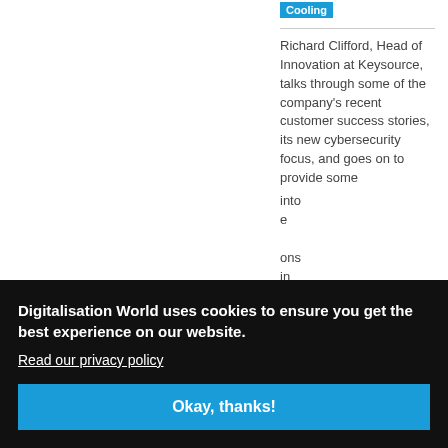Cooling
Richard Clifford, Head of Innovation at Keysource, talks through some of the company's recent customer success stories, its new cybersecurity focus, and goes on to provide some into e ons ain id cooling and the
Digitalisation World uses cookies to ensure you get the best experience on our website.
Read our privacy policy
Okay, thanks!